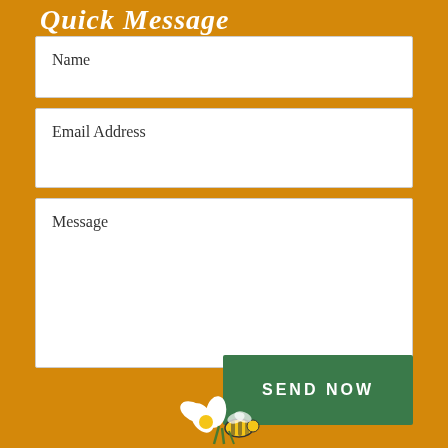Quick Message
Name
Email Address
Message
SEND NOW
[Figure (logo): Flower/bee logo at bottom center]